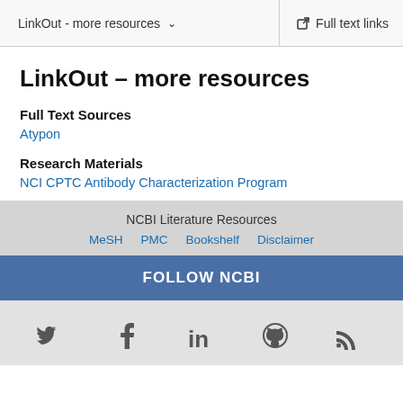LinkOut - more resources   Full text links
LinkOut – more resources
Full Text Sources
Atypon
Research Materials
NCI CPTC Antibody Characterization Program
NCBI Literature Resources  MeSH  PMC  Bookshelf  Disclaimer
FOLLOW NCBI